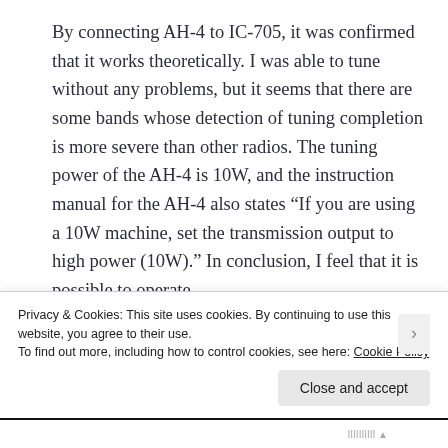By connecting AH-4 to IC-705, it was confirmed that it works theoretically. I was able to tune without any problems, but it seems that there are some bands whose detection of tuning completion is more severe than other radios. The tuning power of the AH-4 is 10W, and the instruction manual for the AH-4 also states “If you are using a 10W machine, set the transmission output to high power (10W).” In conclusion, I feel that it is possible to operate
Privacy & Cookies: This site uses cookies. By continuing to use this website, you agree to their use.
To find out more, including how to control cookies, see here: Cookie Policy
Close and accept